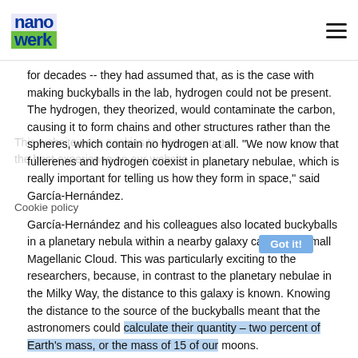nanowerk [logo] [hamburger menu]
for decades -- they had assumed that, as is the case with making buckyballs in the lab, hydrogen could not be present. The hydrogen, they theorized, would contaminate the carbon, causing it to form chains and other structures rather than the spheres, which contain no hydrogen at all. "We now know that fullerenes and hydrogen coexist in planetary nebulae, which is really important for telling us how they form in space," said García-Hernández.
García-Hernández and his colleagues also located buckyballs in a planetary nebula within a nearby galaxy called the Small Magellanic Cloud. This was particularly exciting to the researchers, because, in contrast to the planetary nebulae in the Milky Way, the distance to this galaxy is known. Knowing the distance to the source of the buckyballs meant that the astronomers could calculate their quantity – two percent of Earth's mass, or the mass of 15 of our moons.